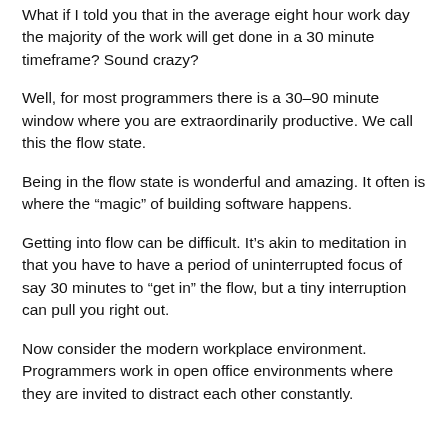What if I told you that in the average eight hour work day the majority of the work will get done in a 30 minute timeframe? Sound crazy?
Well, for most programmers there is a 30–90 minute window where you are extraordinarily productive. We call this the flow state.
Being in the flow state is wonderful and amazing. It often is where the “magic” of building software happens.
Getting into flow can be difficult. It’s akin to meditation in that you have to have a period of uninterrupted focus of say 30 minutes to “get in” the flow, but a tiny interruption can pull you right out.
Now consider the modern workplace environment. Programmers work in open office environments where they are invited to distract each other constantly.